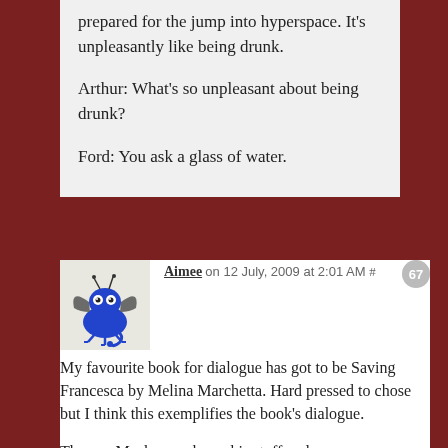prepared for the jump into hyperspace. It's unpleasantly like being drunk.

Arthur: What's so unpleasant about being drunk?

Ford: You ask a glass of water.
Aimee on 12 July, 2009 at 2:01 AM # [67]

My favourite book for dialogue has got to be Saving Francesca by Melina Marchetta. Hard pressed to chose but I think this exemplifies the book's dialogue.

Thomas Mackee packs up his stuff and